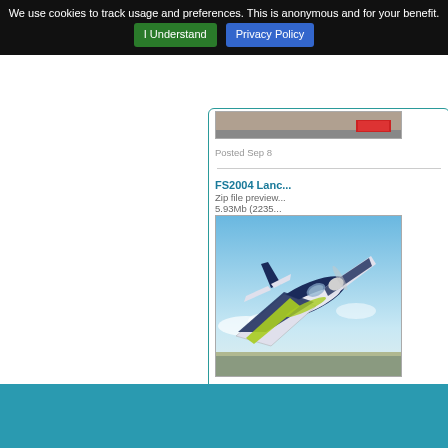We use cookies to track usage and preferences. This is anonymous and for your benefit. | I Understand | Privacy Policy
[Figure (screenshot): Partially visible top entry image (aircraft/terrain scene)]
Posted Sep 8
FS2004 Lanc...
Zip file preview... 5.93Mb (2235...
[Figure (illustration): FS2004 Lancair Legacy aircraft in flight, dark blue with yellow-green stripe, white/light background with clouds, viewed from below and behind]
FS2004 Lanc... Lancair Lega... with these re... Robert Christ...
Required File...
Posted Sep 8